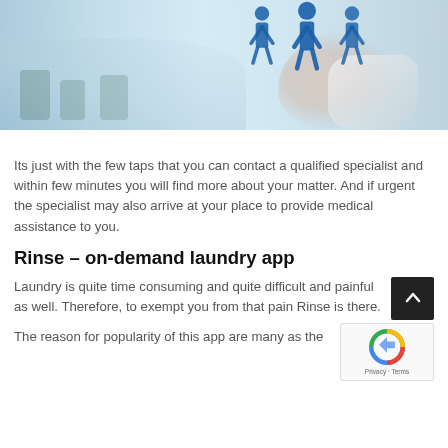[Figure (photo): Blurred office interior background with a person in a white coat extending their hand, with illustrated blue human figure icons overlay on top right]
Its just with the few taps that you can contact a qualified specialist and within few minutes you will find more about your matter. And if urgent the specialist may also arrive at your place to provide medical assistance to you.
Rinse – on-demand laundry app
Laundry is quite time consuming and quite difficult and painful as well. Therefore, to exempt you from that pain Rinse is there.
The reason for popularity of this app are many as the